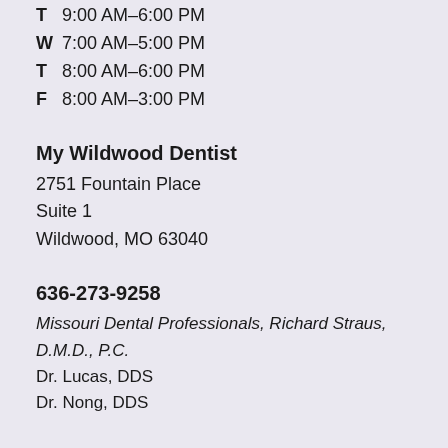T  9:00 AM–6:00 PM
W  7:00 AM–5:00 PM
T  8:00 AM–6:00 PM
F  8:00 AM–3:00 PM
My Wildwood Dentist
2751 Fountain Place
Suite 1
Wildwood, MO 63040
636-273-9258
Missouri Dental Professionals, Richard Straus, D.M.D., P.C.
Dr. Lucas, DDS
Dr. Nong, DDS
Social Media